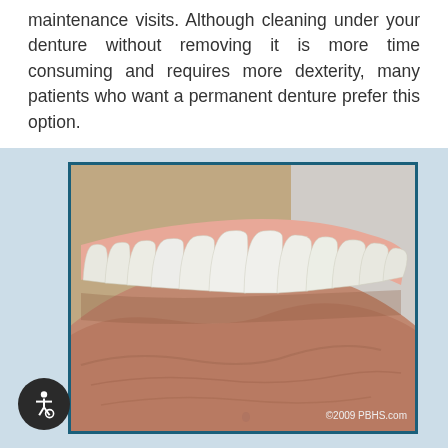maintenance visits. Although cleaning under your denture without removing it is more time consuming and requires more dexterity, many patients who want a permanent denture prefer this option.
[Figure (illustration): 3D medical illustration showing a close-up view of a dental denture fitted over gums, displaying upper arch of prosthetic teeth held against gum tissue, with visible detail of the denture's base and surrounding oral anatomy. Copyright 2009 PBHS.com.]